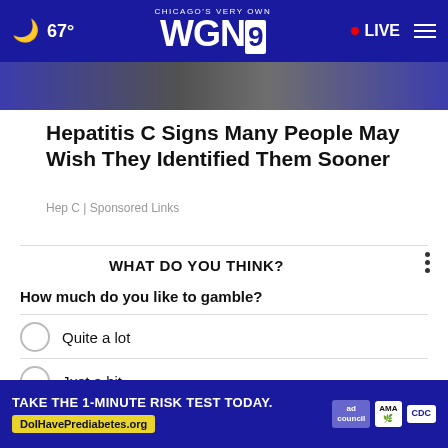67° | CHICAGO'S VERY OWN WGN9 | LIVE
[Figure (screenshot): Partial image strip below header navigation bar]
Hepatitis C Signs Many People May Wish They Identified Them Sooner
Hep C | Sponsored Links
WHAT DO YOU THINK?
How much do you like to gamble?
Quite a lot
Just a bit
Not at all
N
[Figure (screenshot): Advertisement banner: TAKE THE 1-MINUTE RISK TEST TODAY. DolHavePrediabetes.org with ad council, AMA, and CDC logos]